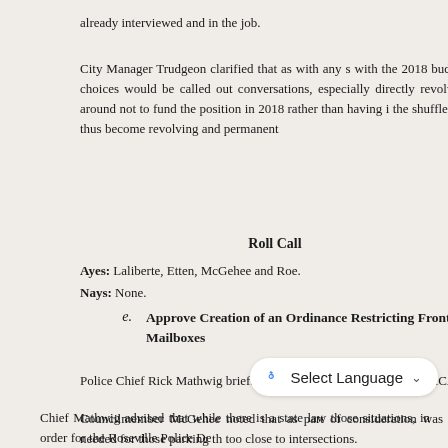already interviewed and in the job.
City Manager Trudgeon clarified that as with any s with the 2018 budget, choices would be called out conversations, especially directly revolving around not to fund the position in 2018 rather than having i the shuffle and thus become revolving and permanent
Roll Call
Ayes: Laliberte, Etten, McGehee and Roe.
Nays: None.
e.   Approve Creation of an Ordinance Restricting Front of Mailboxes
Police Chief Rick Mathwig briefly summarized this detailed in the RCA.
Councilmember McGehee noted that as part of consideration was also needed for those parking th too close to intersections.
Chief Mathwig advised that while there is a state law those situations, in order for the Roseville Police De